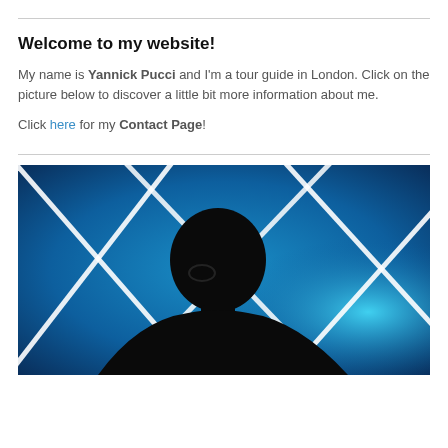Welcome to my website!
My name is Yannick Pucci and I'm a tour guide in London. Click on the picture below to discover a little bit more information about me.
Click here for my Contact Page!
[Figure (photo): Silhouette of a person with glasses against a blue background with diagonal white light streaks forming an X pattern]